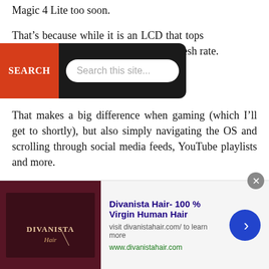Magic 4 Lite too soon.
That’s because while it is an LCD that tops 85 pixels per 120Hz refresh rate.
[Figure (screenshot): Search overlay with dark background, red SEARCH button on left, and white rounded search input field with placeholder text 'Search this site...']
That makes a big difference when gaming (which I’ll get to shortly), but also simply navigating the OS and scrolling through social media feeds, YouTube playlists and more.
Still, viewing angles aren’t great. Colours can appear washed out, blacks are more grey, and the screen is pretty reflective in direct sunlight. Watching YouTube and the
[Figure (screenshot): Advertisement banner for Divanista Hair - 100% Virgin Human Hair. Shows a dark product image on the left with logo text 'DIVANISTA Hair', bold blue title text, gray subtitle 'visit divanistahair.com/ to learn more', green URL 'www.divanistahair.com', and a blue circular arrow button on the right. Close button (x) in gray circle at top right.]